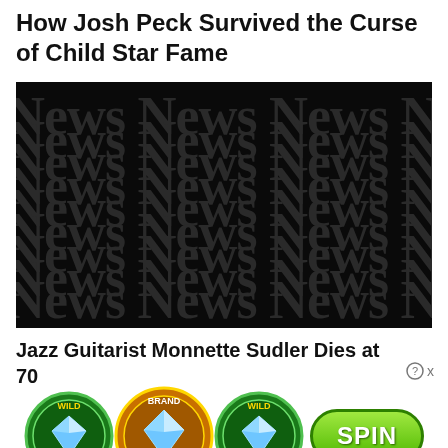How Josh Peck Survived the Curse of Child Star Fame
[Figure (photo): Dark background with repeating 'News' text in a tiled pattern, creating a decorative news-themed image.]
Jazz Guitarist Monnette Sudler Dies at 70
[Figure (infographic): Advertisement showing three diamond slot machine icons labeled 'WILD', 'BRAND 100X', 'WILD' and a green SPIN button.]